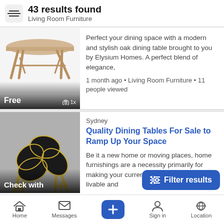43 results found – Living Room Furniture
[Figure (photo): Oak dining table with angular legs on white background]
Perfect your dining space with a modern and stylish oak dining table brought to you by Elysium Homes. A perfect blend of elegance,
1 month ago • Living Room Furniture • 11 people viewed
[Figure (photo): Black and gold floral-shaped side tables on grey background]
Sydney
Quality Dining Tables For Sale to Ramp Up Your Space
Be it a new home or moving places, home furnishings are a necessity primarily for making your current living space more livable and
1 month ago • Dining • people viewed
Home   Messages   +   Sign in   Location